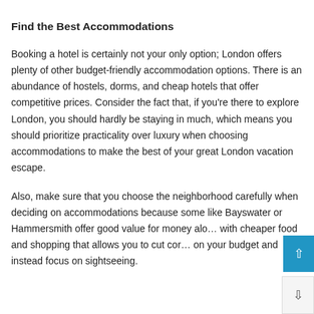Find the Best Accommodations
Booking a hotel is certainly not your only option; London offers plenty of other budget-friendly accommodation options. There is an abundance of hostels, dorms, and cheap hotels that offer competitive prices. Consider the fact that, if you're there to explore London, you should hardly be staying in much, which means you should prioritize practicality over luxury when choosing accommodations to make the best of your great London vacation escape.
Also, make sure that you choose the neighborhood carefully when deciding on accommodations because some like Bayswater or Hammersmith offer good value for money along with cheaper food and shopping that allows you to cut costs on your budget and instead focus on sightseeing.